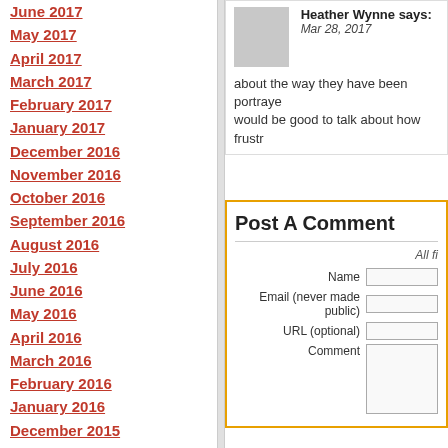June 2017
May 2017
April 2017
March 2017
February 2017
January 2017
December 2016
November 2016
October 2016
September 2016
August 2016
July 2016
June 2016
May 2016
April 2016
March 2016
February 2016
January 2016
December 2015
November 2015
October 2015
September 2015
August 2015
Heather Wynne says: Mar 28, 2017
about the way they have been portrayed would be good to talk about how frustr
Post A Comment
All fi
Name
Email (never made public)
URL (optional)
Comment